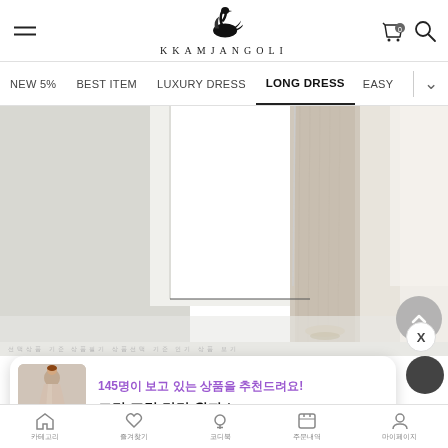KKAMJANGOLI — website header with hamburger menu, swan logo, cart icon, and search icon
Navigation: NEW 5%, BEST ITEM, LUXURY DRESS, LONG DRESS (active), EASY
[Figure (photo): Fashion website hero image showing a light gray room with a white panel and draped beige/champagne long dress fabric on the right side]
[Figure (screenshot): Popup notification card with product thumbnail, Korean text '145명이 보고 있는 상품을 추천드려요!' in purple and product name '크린 프릴 캉캉 원피스' in bold black]
Bottom navigation bar with 5 icon buttons and Korean labels